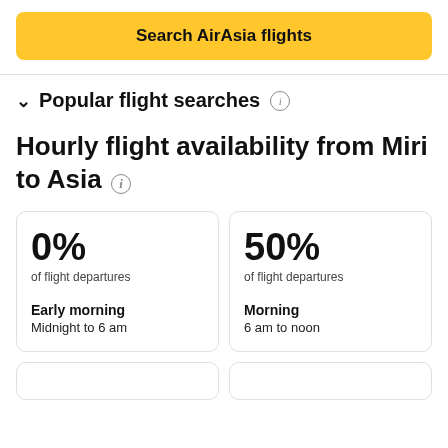Search AirAsia flights
Popular flight searches
Hourly flight availability from Miri to Asia
0%
of flight departures
Early morning
Midnight to 6 am
50%
of flight departures
Morning
6 am to noon